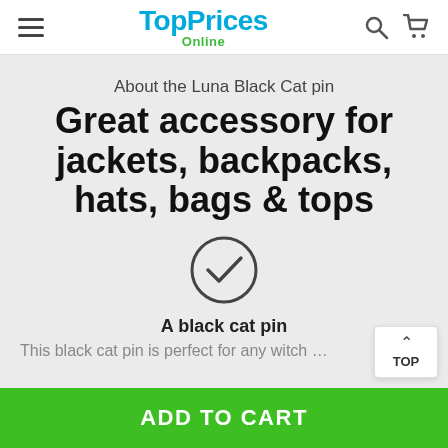TopPrices Online
About the Luna Black Cat pin
Great accessory for jackets, backpacks, hats, bags & tops
[Figure (illustration): Checkmark inside a circle icon]
A black cat pin
This black cat pin is perfect for any witch out th
TOP